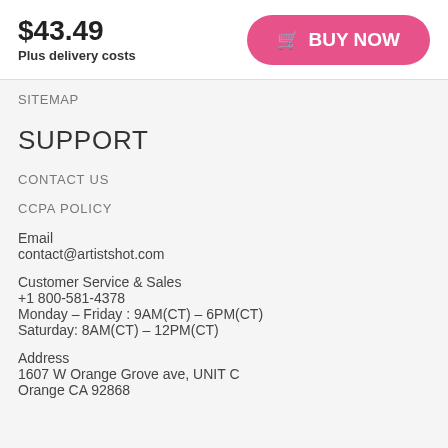$43.49
Plus delivery costs
BUY NOW
SITEMAP
SUPPORT
CONTACT US
CCPA POLICY
Email
contact@artistshot.com
Customer Service & Sales
+1 800-581-4378
Monday – Friday : 9AM(CT) – 6PM(CT)
Saturday: 8AM(CT) – 12PM(CT)
Address
1607 W Orange Grove ave, UNIT C
Orange CA 92868